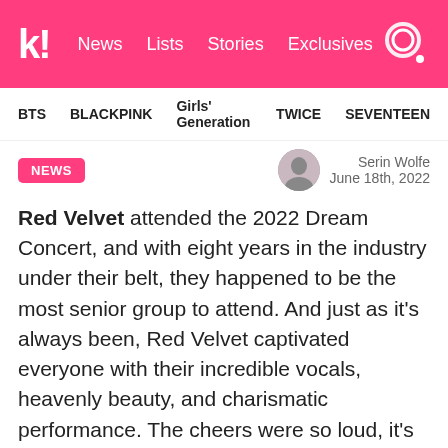k! News Lists Stories Exclusives
BTS  BLACKPINK  Girls' Generation  TWICE  SEVENTEEN
NEWS
Serin Wolfe
June 18th, 2022
Red Velvet attended the 2022 Dream Concert, and with eight years in the industry under their belt, they happened to be the most senior group to attend. And just as it's always been, Red Velvet captivated everyone with their incredible vocals, heavenly beauty, and charismatic performance. The cheers were so loud, it's hard to believe that it wasn't actually their own concert.